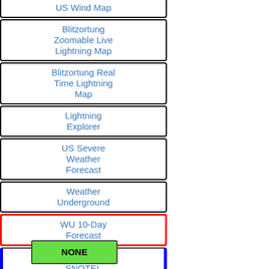Blitzortung Zoomable Live Lightning Map
Blitzortung Real Time Lightning Map
Lightning Explorer
US Severe Weather Forecast
Weather Underground
WU 10-Day Forecast
Carson Pass SNOTEL
Carson Pass Weather
WXforum.net
Carson Valley Weather Detail
MesoWest AS061 Detail
Alerts
NONE